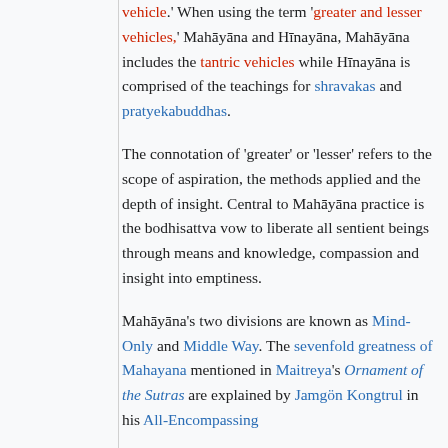vehicle.' When using the term 'greater and lesser vehicles,' Mahāyāna and Hīnayāna, Mahāyāna includes the tantric vehicles while Hīnayāna is comprised of the teachings for shravakas and pratyekabuddhas.
The connotation of 'greater' or 'lesser' refers to the scope of aspiration, the methods applied and the depth of insight. Central to Mahāyāna practice is the bodhisattva vow to liberate all sentient beings through means and knowledge, compassion and insight into emptiness.
Mahāyāna's two divisions are known as Mind-Only and Middle Way. The sevenfold greatness of Mahayana mentioned in Maitreya's Ornament of the Sutras are explained by Jamgön Kongtrul in his All-Encompassing